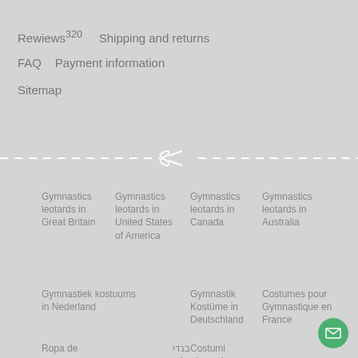Rewiews 320   Shipping and returns
FAQ   Payment information
Sitemap
[Figure (other): Dashed horizontal cut line with scissors icon in the center]
Gymnastics leotards in Great Britain
Gymnastics leotards in United States of America
Gymnastics leotards in Canada
Gymnastics leotards in Australia
Gymnastiek kostuums in Nederland
Gymnastik Kostüme in Deutschland
Costumes pour Gymnastique en France
Ropa de
בגדי גלמנסטיקה
Costumi ginnastica